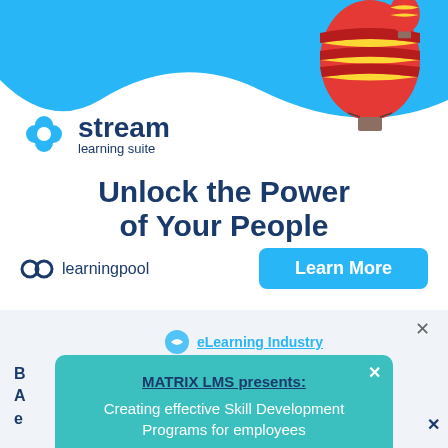[Figure (illustration): Stream Learning Suite advertisement banner with hot air balloons, blue wave design, logo, headline text, Learning Pool logo, and Learn More button]
Unlock the Power of Your People
[Figure (logo): learningpool logo]
Learn More
[Figure (logo): eLearning Industry logo (partially visible)]
MATRIX LMS presents:
Creating effective Skill Development Programs for employees
REGISTER NOW!